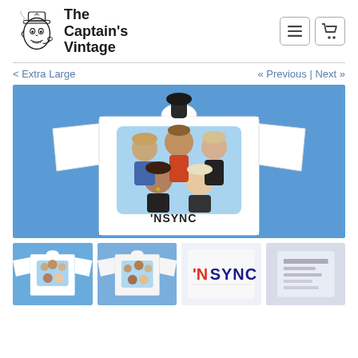[Figure (logo): The Captain's Vintage logo with illustrated captain character and bold text]
[Figure (photo): White NSYNC band t-shirt on mannequin against blue background, featuring group photo of 5 band members with NSYNC logo]
< Extra Large
« Previous | Next »
[Figure (photo): Thumbnail 1: Front view of NSYNC t-shirt showing group photo on blue background]
[Figure (photo): Thumbnail 2: Different angle of NSYNC t-shirt on blue background]
[Figure (photo): Thumbnail 3: Close-up of NSYNC logo on the t-shirt]
[Figure (photo): Thumbnail 4: Tag/label detail of the t-shirt]